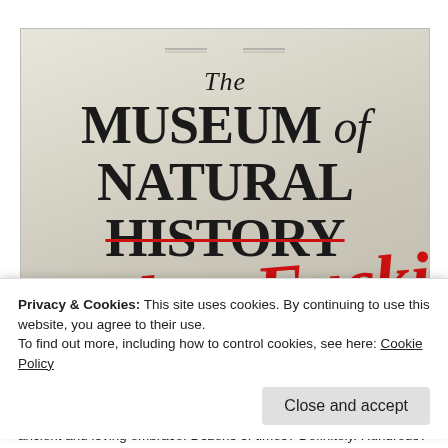[Figure (photo): Book or poster cover for 'The Museum of Natural History' with 'HISTORY' crossed out and replaced with red cursive handwritten text reading 'Mother Fucking Awesomeness']
Privacy & Cookies: This site uses cookies. By continuing to use this website, you agree to their use.
To find out more, including how to control cookies, see here: Cookie Policy
Close and accept
ancient and loving embrace. Dozens of times? Definitely. Hundreds?